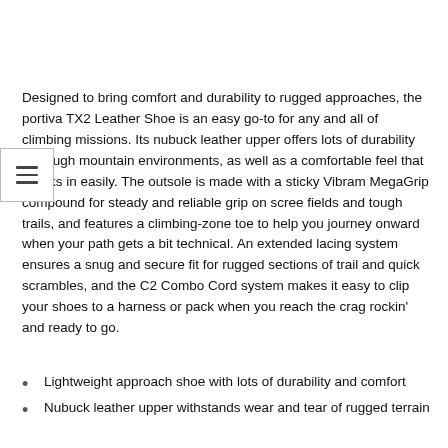Designed to bring comfort and durability to rugged approaches, the portiva TX2 Leather Shoe is an easy go-to for any and all of climbing missions. Its nubuck leather upper offers lots of durability for tough mountain environments, as well as a comfortable feel that breaks in easily. The outsole is made with a sticky Vibram MegaGrip compound for steady and reliable grip on scree fields and tough trails, and features a climbing-zone toe to help you journey onward when your path gets a bit technical. An extended lacing system ensures a snug and secure fit for rugged sections of trail and quick scrambles, and the C2 Combo Cord system makes it easy to clip your shoes to a harness or pack when you reach the crag rockin' and ready to go.
Lightweight approach shoe with lots of durability and comfort
Nubuck leather upper withstands wear and tear of rugged terrain